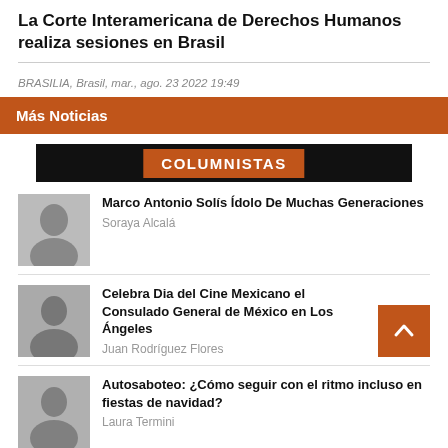La Corte Interamericana de Derechos Humanos realiza sesiones en Brasil
BRASILIA, Brasil, mar., ago. 23 2022 19:49
Más Noticias
COLUMNISTAS
Marco Antonio Solís Ídolo De Muchas Generaciones — Soraya Alcalá
Celebra Dia del Cine Mexicano el Consulado General de México en Los Ángeles — Juan Rodríguez Flores
Autosaboteo: ¿Cómo seguir con el ritmo incluso en fiestas de navidad? — Laura Termini